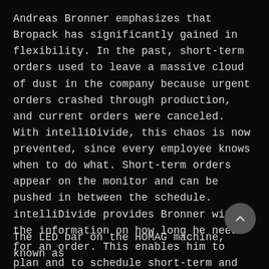Andreas Bronner emphasizes that Bropack has significantly gained in flexibility. In the past, short-term orders used to leave a massive cloud of dust in the company because urgent orders crashed through production, and current orders were canceled. With intelliDivide, this chaos is now prevented, since every employee knows when to do what. Short-term orders appear on the monitor and can be pushed in between the schedule. intelliDivide provides Bronner with the information on how long he needs for an order. This enables him to plan and to schedule short-term and urgent orders according to demand in-between.
The LED bar on the HOMAG machine, known as